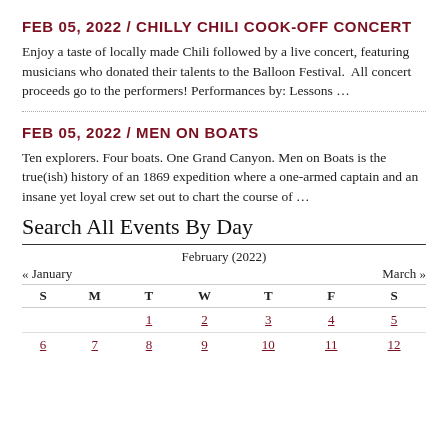FEB 05, 2022 / CHILLY CHILI COOK-OFF CONCERT
Enjoy a taste of locally made Chili followed by a live concert, featuring musicians who donated their talents to the Balloon Festival.  All concert proceeds go to the performers! Performances by: Lessons …
FEB 05, 2022 / MEN ON BOATS
Ten explorers. Four boats. One Grand Canyon. Men on Boats is the true(ish) history of an 1869 expedition where a one-armed captain and an insane yet loyal crew set out to chart the course of …
Search All Events By Day
| S | M | T | W | T | F | S |
| --- | --- | --- | --- | --- | --- | --- |
|  |  | 1 | 2 | 3 | 4 | 5 |
| 6 | 7 | 8 | 9 | 10 | 11 | 12 |